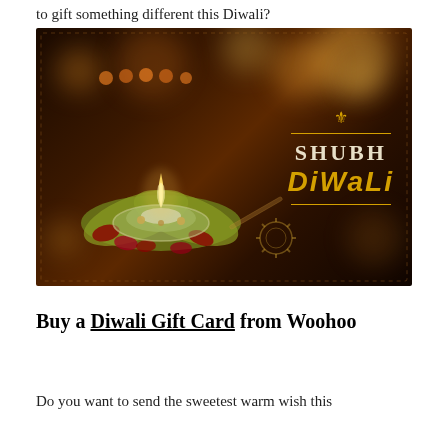to gift something different this Diwali?
[Figure (photo): A lit diya (oil lamp) decorated with flowers and petals on a festive background with bokeh lights, with text 'SHUBH DIWALI' on the right side in white and gold]
Buy a Diwali Gift Card from Woohoo
Do you want to send the sweetest warm wish this